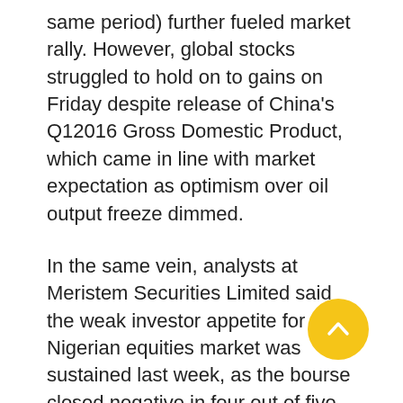same period) further fueled market rally. However, global stocks struggled to hold on to gains on Friday despite release of China's Q12016 Gross Domestic Product, which came in line with market expectation as optimism over oil output freeze dimmed.
In the same vein, analysts at Meristem Securities Limited said the weak investor appetite for the Nigerian equities market was sustained last week, as the bourse closed negative in four out of five trading days in the week.
For the agric sector, they said, “We view the sector’s ability to attract positive sentiments even in the predominantly bearish market as an indication of a consensus optimism towards the sector, owing to the current administration’s economic diversification strategy to develop the sector.